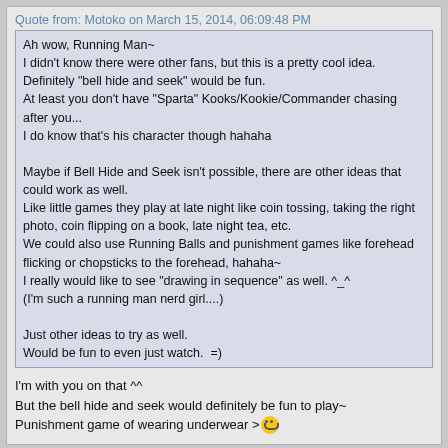Quote from: Motoko on March 15, 2014, 06:09:48 PM
Ah wow, Running Man~
I didn't know there were other fans, but this is a pretty cool idea.
Definitely "bell hide and seek" would be fun.
At least you don't have "Sparta" Kooks/Kookie/Commander chasing after you...
I do know that's his character though hahaha

Maybe if Bell Hide and Seek isn't possible, there are other ideas that could work as well.
Like little games they play at late night like coin tossing, taking the right photo, coin flipping on a book, late night tea, etc.
We could also use Running Balls and punishment games like forehead flicking or chopsticks to the forehead, hahaha~
I really would like to see "drawing in sequence" as well. ^_^
(I'm such a running man nerd girl....)

Just other ideas to try as well.
Would be fun to even just watch.  =)
I'm with you on that ^^
But the bell hide and seek would definitely be fun to play~
Punishment game of wearing underwear >:)
18
Meetings, Gatherings, and Get Togethers / Re: Korean Running Man idea
« on: March 13, 2014, 11:16:43 PM »
Just looked up the site... So amazing ; A;
(Man, why is the $tress hat sold out </3 )